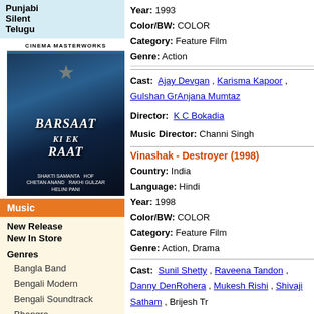Punjabi
Silent
Telugu
[Figure (photo): Movie poster for Barsaat Ki Ek Raat with Cinema Masterworks label]
Music
New Release
New In Store
Genres
Bangla Band
Bengali Modern
Bengali Soundtrack
Bhangra
Bollywood Remix
Children Music
Devotional
D J R
Year: 1993
Color/BW: COLOR
Category: Feature Film
Genre: Action
Cast: Ajay Devgan, Karisma Kapoor, Gulshan Gr..., Anjana Mumtaz
Director: K C Bokadia
Music Director: Channi Singh
Vinashak - Destroyer (1998)
Country: India
Language: Hindi
Year: 1998
Color/BW: COLOR
Category: Feature Film
Genre: Action, Drama
Cast: Sunil Shetty, Raveena Tandon, Danny Den..., Rohera, Mukesh Rishi, Shivaji Satham, Brijesh Tr...
Director: Ravi Dewan
Music Director: Viju Shah
Format: DVD